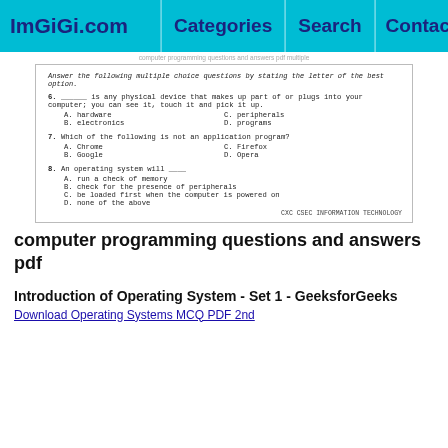ImGiGi.com | Categories | Search | Contact
[Figure (screenshot): Screenshot of a multiple choice exam with questions 6, 7, and 8 about computer hardware, application programs, and operating systems. Footer reads 'CXC CSEC INFORMATION TECHNOLOGY']
computer programming questions and answers pdf
Introduction of Operating System - Set 1 - GeeksforGeeks
Download Operating Systems MCQ PDF 2nd